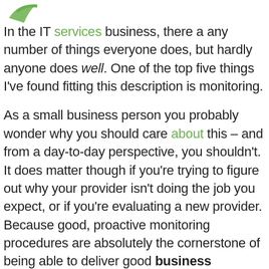[Figure (logo): Partial logo visible at top left, appears to be a green swoosh/arrow icon]
In the IT services business, there a any number of things everyone does, but hardly anyone does well. One of the top five things I’ve found fitting this description is monitoring.

As a small business person you probably wonder why you should care about this – and from a day-to-day perspective, you shouldn’t. It does matter though if you’re trying to figure out why your provider isn’t doing the job you expect, or if you’re evaluating a new provider. Because good, proactive monitoring procedures are absolutely the cornerstone of being able to deliver good business outcomes.